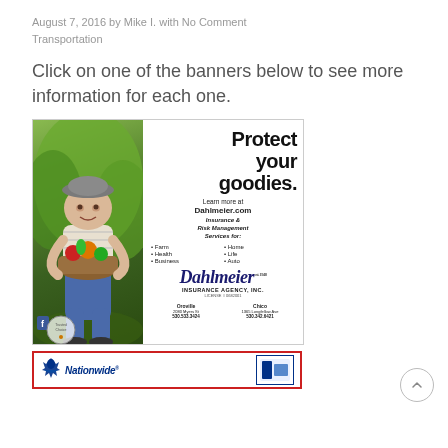August 7, 2016 by Mike I. with No Comment
Transportation
Click on one of the banners below to see more information for each one.
[Figure (illustration): Dahlmeier Insurance Agency advertisement banner featuring a boy holding a basket of vegetables. Text reads: Protect your goodies. Learn more at Dahlmeier.com. Insurance & Risk Management Services for: Farm, Home, Health, Life, Business, Auto. Dahlmeier Insurance Agency, Inc. License # 0682001. Oroville: 2080 Myers St 530.533.3424. Chico: 1365 Longfellow Ave 530.342.6421. Trusted Choice.]
[Figure (illustration): Nationwide Insurance advertisement banner with Nationwide logo (eagle) and text 'Nationwide' in blue italic font, with a secondary logo on the right side.]